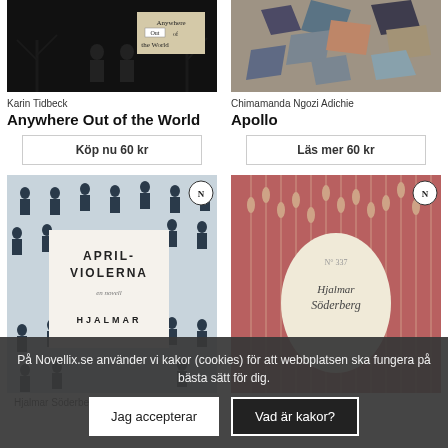[Figure (illustration): Book cover: Anywhere Out of the World by Karin Tidbeck, dark background with silhouettes and title in beige box]
Karin Tidbeck
Anywhere Out of the World
Köp nu 60 kr
[Figure (illustration): Book cover: Apollo by Chimamanda Ngozi Adichie, collage of colorful shapes on grey background]
Chimamanda Ngozi Adichie
Apollo
Läs mer 60 kr
[Figure (illustration): Book cover: Aprilviolerna by Hjalmar Söderberg, pattern of men in suits on blue-grey background with white insert showing title]
[Figure (illustration): Book cover: Hjalmar Söderberg novell, pink/red wheat pattern background with oval containing author name in script]
Hjalmar Söderberg
Hjalmar Söderberg
På Novellix.se använder vi kakor (cookies) för att webbplatsen ska fungera på bästa sätt för dig.
Jag accepterar
Vad är kakor?